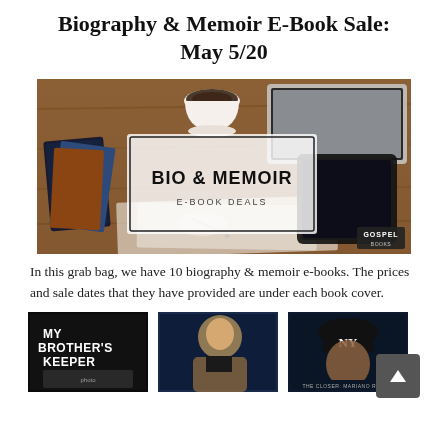Biography & Memoir E-Book Sale: May 5/20
[Figure (photo): Hero banner image of a desk with books, coffee cup, laptop, and tablet. Overlaid white box with text 'BIO & MEMOIR' and 'E-BOOK DEALS'. Gospel Books logo in lower right.]
In this grab bag, we have 10 biography & memoir e-books. The prices and sale dates that they have provided are under each book cover.
[Figure (photo): Three book covers in a row: 'My Brother's Keeper' (dark cover with text), a man's portrait (blue background), and a New York Yankees player (navy background).]